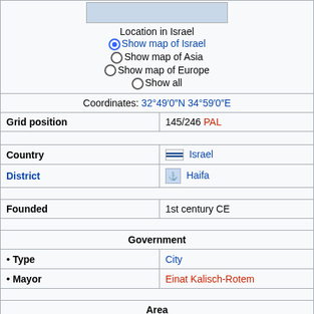[Figure (map): Partial map image at top of infobox showing location in Israel]
Location in Israel
●Show map of Israel
○Show map of Asia
○Show map of Europe
○Show all
| Coordinates: | 32°49′0″N 34°59′0″E |
| Grid position | 145/246 PAL |
| Country | 🇮🇱 Israel |
| District | ⚓ Haifa |
| Founded | 1st century CE |
| Government |  |
| • Type | City |
| • Mayor | Einat Kalisch-Rotem |
| Area |  |
| • City | 63,666 dunams (63.666 km² or 24.582 sq mi) |
| Population (2017)[1] |  |
| • City | 281,087 |
| • Density | 4,400/km² (11,000/sq mi) |
| • Urban | 600,000 |